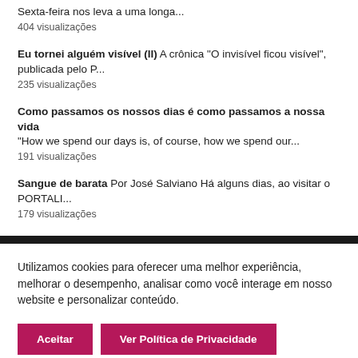Sexta-feira nos leva a uma longa...
404 visualizações
Eu tornei alguém visível (II) A crônica "O invisível ficou visível", publicada pelo P...
235 visualizações
Como passamos os nossos dias é como passamos a nossa vida
"How we spend our days is, of course, how we spend our...
191 visualizações
Sangue de barata Por José Salviano Há alguns dias, ao visitar o PORTALI...
179 visualizações
Utilizamos cookies para oferecer uma melhor experiência, melhorar o desempenho, analisar como você interage em nosso website e personalizar conteúdo.
Aceitar | Ver Política de Privacidade